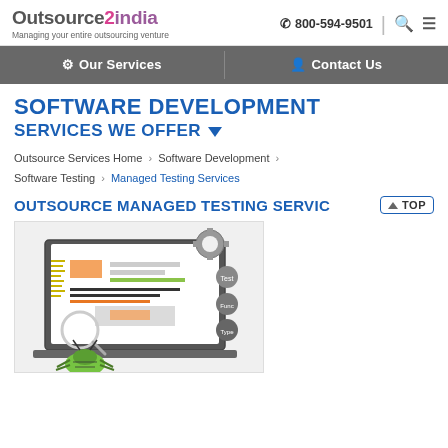Outsource2india — Managing your entire outsourcing venture | ☎ 800-594-9501
Our Services | Contact Us
SOFTWARE DEVELOPMENT
SERVICES WE OFFER ▾
Outsource Services Home > Software Development > Software Testing > Managed Testing Services
OUTSOURCE MANAGED TESTING SERVICES
[Figure (illustration): Illustration of software testing concept showing a laptop with test interface, gears, magnifying glass, and a green bug/beetle figure in the foreground]